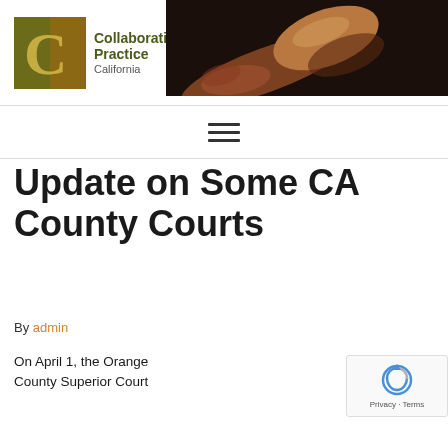[Figure (logo): Collaborative Practice California logo with golden C icon and green text, combined with Family Divorce Solutions of San Fernando Valley logo in blue and green]
[Figure (other): Hamburger menu icon (three horizontal lines)]
Update on Some CA County Courts
By admin
On April 1, the Orange County Superior Court
[Figure (photo): Close-up photo of a judge's gavel being held]